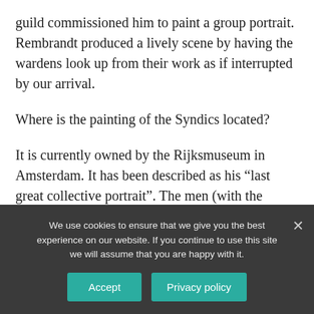guild commissioned him to paint a group portrait. Rembrandt produced a lively scene by having the wardens look up from their work as if interrupted by our arrival.
Where is the painting of the Syndics located?
It is currently owned by the Rijksmuseum in Amsterdam. It has been described as his “last great collective portrait”. The men (with the exception of Bel who is an attendant as indicated by his calotte)
We use cookies to ensure that we give you the best experience on our website. If you continue to use this site we will assume that you are happy with it.